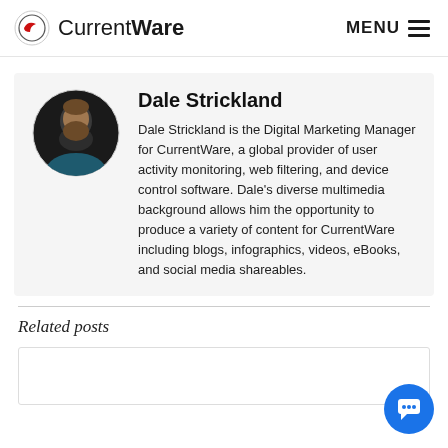CurrentWare   MENU
[Figure (photo): Circular profile photo of Dale Strickland, a bearded man, dark background]
Dale Strickland
Dale Strickland is the Digital Marketing Manager for CurrentWare, a global provider of user activity monitoring, web filtering, and device control software. Dale's diverse multimedia background allows him the opportunity to produce a variety of content for CurrentWare including blogs, infographics, videos, eBooks, and social media shareables.
Related posts
[Figure (screenshot): Empty white card placeholder for a related post thumbnail]
[Figure (illustration): Blue circular chat button with speech bubble icon in bottom right corner]